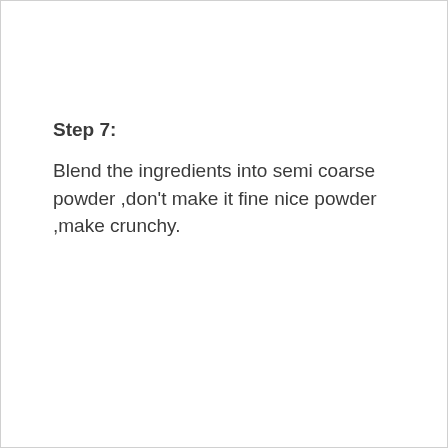Step 7:
Blend the ingredients into semi coarse powder ,don't make it fine nice powder ,make crunchy.